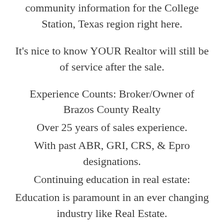community information for the College Station, Texas region right here.
It's nice to know YOUR Realtor will still be of service after the sale.
Experience Counts: Broker/Owner of Brazos County Realty
Over 25 years of sales experience.
With past ABR, GRI, CRS, & Epro designations.
Continuing education in real estate:
Education is paramount in an ever changing industry like Real Estate.